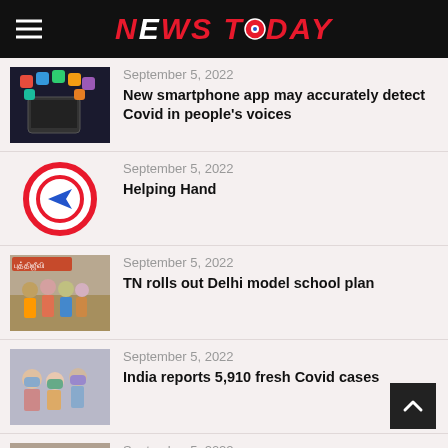NEWS TODAY
September 5, 2022
New smartphone app may accurately detect Covid in people's voices
September 5, 2022
Helping Hand
September 5, 2022
TN rolls out Delhi model school plan
September 5, 2022
India reports 5,910 fresh Covid cases
September 5, 2022